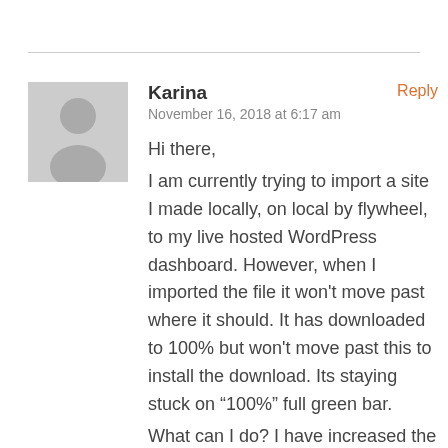[Figure (illustration): Grey avatar placeholder icon showing a silhouette of a person (head and shoulders) on a light grey square background]
Karina
Reply
November 16, 2018 at 6:17 am
Hi there,
I am currently trying to import a site I made locally, on local by flywheel, to my live hosted WordPress dashboard. However, when I imported the file it won't move past where it should. It has downloaded to 100% but won't move past this to install the download. Its staying stuck on “100%” full green bar.
What can I do? I have increased the max file size and all of that – so the file size is